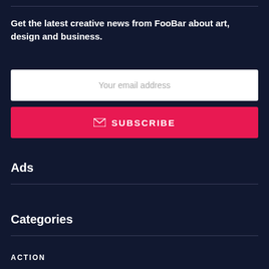Get the latest creative news from FooBar about art, design and business.
Your email address
SUBSCRIBE
Ads
Categories
ACTION